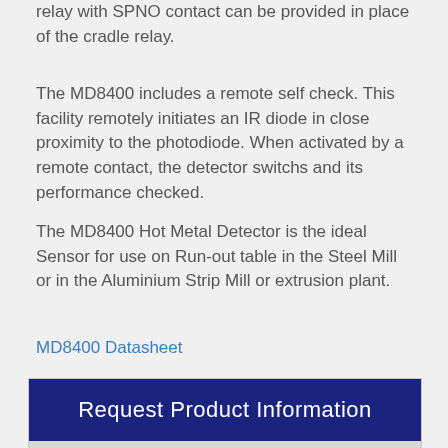relay with SPNO contact can be provided in place of the cradle relay.
The MD8400 includes a remote self check. This facility remotely initiates an IR diode in close proximity to the photodiode. When activated by a remote contact, the detector switchs and its performance checked.
The MD8400 Hot Metal Detector is the ideal Sensor for use on Run-out table in the Steel Mill or in the Aluminium Strip Mill or extrusion plant.
MD8400 Datasheet
Request Product Information
Name